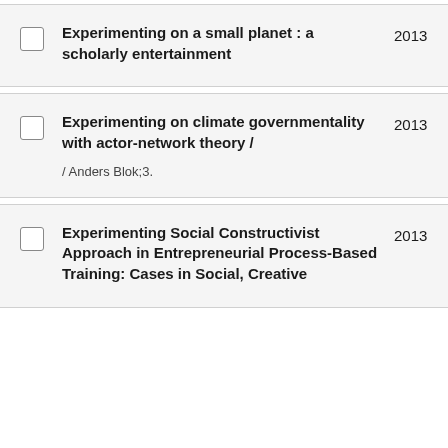Experimenting on a small planet : a scholarly entertainment
Experimenting on climate governmentality with actor-network theory /
Experimenting Social Constructivist Approach in Entrepreneurial Process-Based Training: Cases in Social, Creative